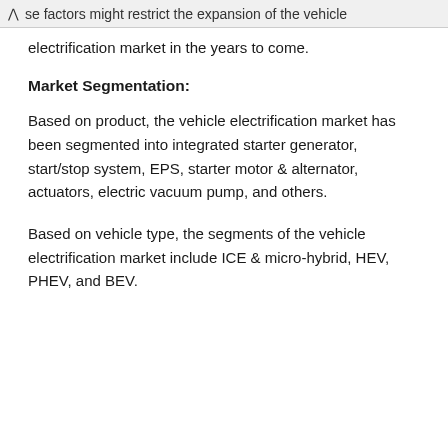se factors might restrict the expansion of the vehicle electrification market in the years to come.
Market Segmentation:
Based on product, the vehicle electrification market has been segmented into integrated starter generator, start/stop system, EPS, starter motor & alternator, actuators, electric vacuum pump, and others.
Based on vehicle type, the segments of the vehicle electrification market include ICE & micro-hybrid, HEV, PHEV, and BEV.